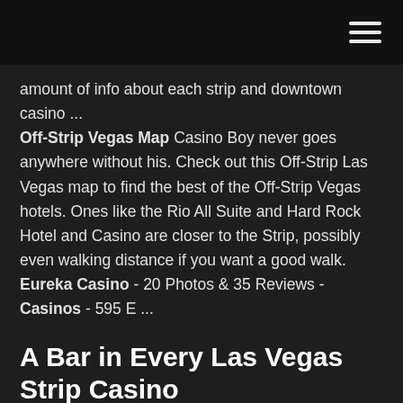amount of info about each strip and downtown casino ... Off-Strip Vegas Map Casino Boy never goes anywhere without his. Check out this Off-Strip Las Vegas map to find the best of the Off-Strip Vegas hotels. Ones like the Rio All Suite and Hard Rock Hotel and Casino are closer to the Strip, possibly even walking distance if you want a good walk. Eureka Casino - 20 Photos & 35 Reviews - Casinos - 595 E ...
A Bar in Every Las Vegas Strip Casino
The Largest Resort on the Las Vegas Strip that NO ONE can Jun 22, 2018 · In this video, we are going to be talking